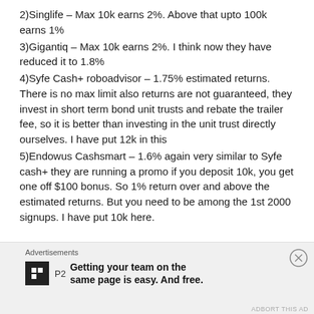2)Singlife – Max 10k earns 2%. Above that upto 100k earns 1%
3)Gigantiq – Max 10k earns 2%. I think now they have reduced it to 1.8%
4)Syfe Cash+ roboadvisor – 1.75% estimated returns. There is no max limit also returns are not guaranteed, they invest in short term bond unit trusts and rebate the trailer fee, so it is better than investing in the unit trust directly ourselves. I have put 12k in this
5)Endowus Cashsmart – 1.6% again very similar to Syfe cash+ they are running a promo if you deposit 10k, you get one off $100 bonus. So 1% return over and above the estimated returns. But you need to be among the 1st 2000 signups. I have put 10k here.
Advertisements
[Figure (logo): P2 advertisement with logo and tagline: Getting your team on the same page is easy. And free.]